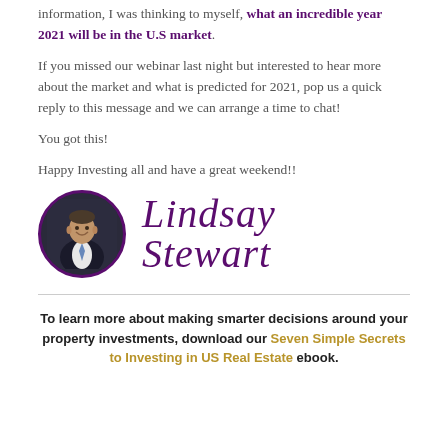information, I was thinking to myself, what an incredible year 2021 will be in the U.S market.
If you missed our webinar last night but interested to hear more about the market and what is predicted for 2021, pop us a quick reply to this message and we can arrange a time to chat!
You got this!
Happy Investing all and have a great weekend!!
[Figure (photo): Circular portrait photo of a man in a suit with a tie, smiling, with a dark background. Bordered by a purple circle. Next to a cursive signature reading 'Lindsay Stewart' in purple.]
To learn more about making smarter decisions around your property investments, download our Seven Simple Secrets to Investing in US Real Estate ebook.